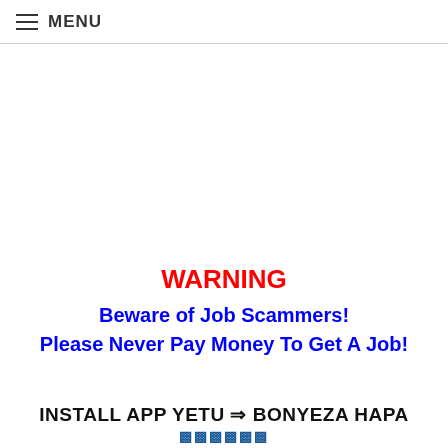≡ MENU
WARNING
Beware of Job Scammers!
Please Never Pay Money To Get A Job!
INSTALL APP YETU ⇒ BONYEZA HAPA